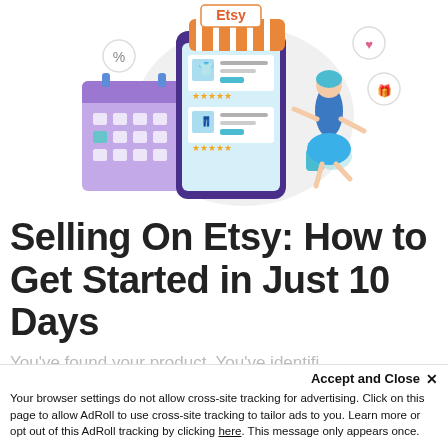[Figure (illustration): Colorful illustration of an Etsy shop concept: a large smartphone displaying product listings with an orange-striped Etsy store awning on top, a purple calendar, a woman in a blue skirt shopping, and speech bubbles with icons for percent, heart, and gift.]
Selling On Etsy: How to Get Started in Just 10 Days
You've found your product. You've identified...
Accept and Close ×
Your browser settings do not allow cross-site tracking for advertising. Click on this page to allow AdRoll to use cross-site tracking to tailor ads to you. Learn more or opt out of this AdRoll tracking by clicking here. This message only appears once.